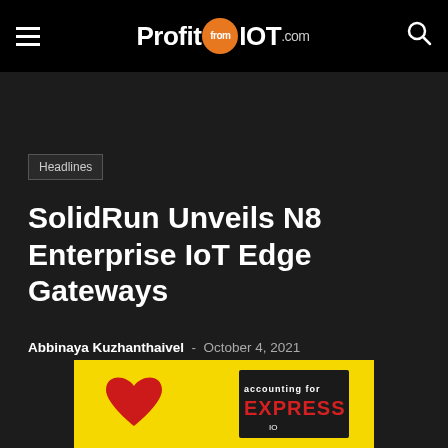ProfitfromIOT.com
Headlines
SolidRun Unveils N8 Enterprise IoT Edge Gateways
Abbinaya Kuzhanthaivel - October 4, 2021
[Figure (photo): Yellow advertisement banner with a red heart illustration and text EXPRESS]